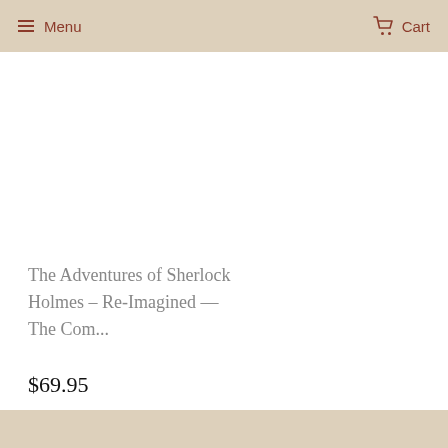≡ Menu    🛒 Cart
The Adventures of Sherlock Holmes – Re-Imagined — The Com...
$69.95